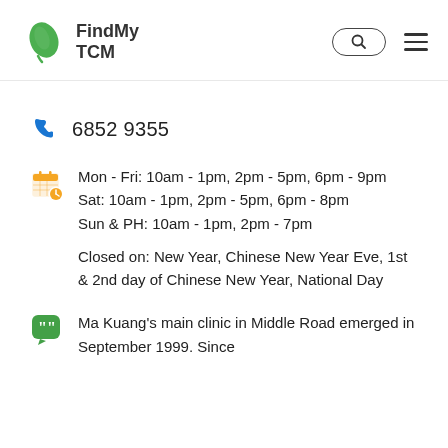FindMy TCM
6852 9355
Mon - Fri: 10am - 1pm, 2pm - 5pm, 6pm - 9pm
Sat: 10am - 1pm, 2pm - 5pm, 6pm - 8pm
Sun & PH: 10am - 1pm, 2pm - 7pm
Closed on: New Year, Chinese New Year Eve, 1st & 2nd day of Chinese New Year, National Day
Ma Kuang's main clinic in Middle Road emerged in September 1999. Since